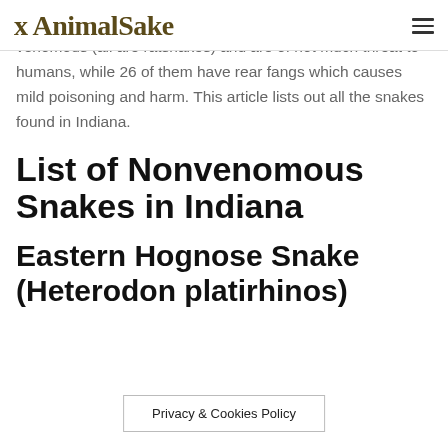AnimalSake
venomous snakes in Indiana. Nine snakes are non-venomous (all are ratsnakes) and are of not much threat to humans, while 26 of them have rear fangs which causes mild poisoning and harm. This article lists out all the snakes found in Indiana.
List of Nonvenomous Snakes in Indiana
Eastern Hognose Snake (Heterodon platirhinos)
Privacy & Cookies Policy